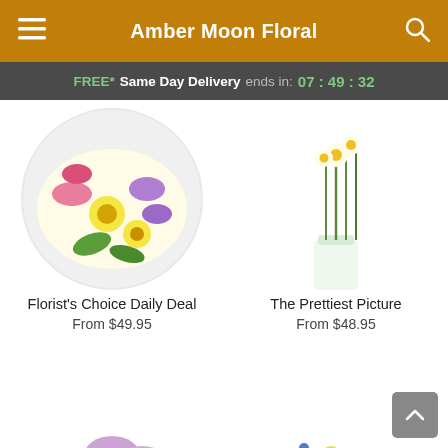Amber Moon Floral
FREE* Same Day Delivery ends in: 07 : 49 : 32
[Figure (photo): Circular arrangement of colorful flowers including yellow daisies, pink and purple flowers on white background]
Florist's Choice Daily Deal
From $49.95
[Figure (photo): Tall glass vase with green stems and flowers, partial view on white background]
The Prettiest Picture
From $48.95
[Figure (photo): Bouquet of pink roses, hot pink roses, and purple daisies in white vase]
[Figure (photo): Colorful flower arrangement with yellow roses, purple alstroemeria, yellow carnations in glass vase with yellow ribbon]